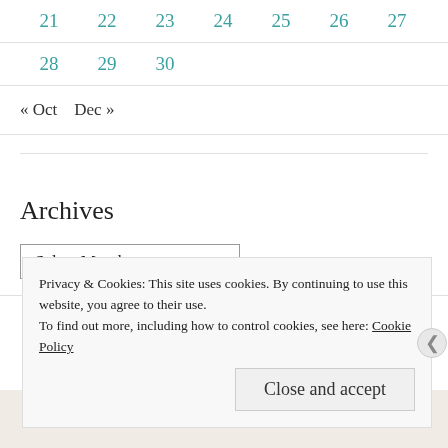| 21 | 22 | 23 | 24 | 25 | 26 | 27 |
| 28 | 29 | 30 |  |  |  |  |
« Oct   Dec »
Archives
Select Month
Privacy & Cookies: This site uses cookies. By continuing to use this website, you agree to their use.
To find out more, including how to control cookies, see here: Cookie Policy
Close and accept